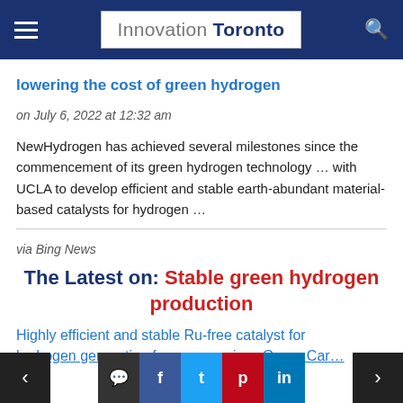Innovation Toronto
lowering the cost of green hydrogen
on July 6, 2022 at 12:32 am
NewHydrogen has achieved several milestones since the commencement of its green hydrogen technology … with UCLA to develop efficient and stable earth-abundant material-based catalysts for hydrogen …
via Bing News
The Latest on: Stable green hydrogen production
Highly efficient and stable Ru-free catalyst for hydrogen generation from ammonia… Green Car…
< comment f t p in >